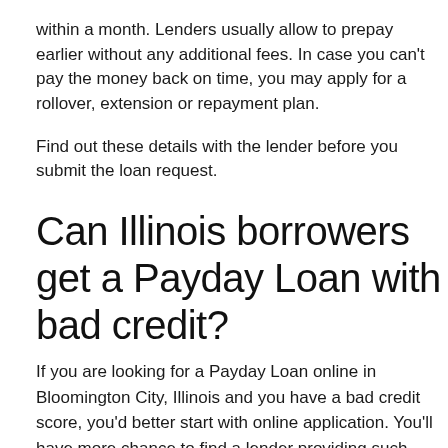within a month. Lenders usually allow to prepay earlier without any additional fees. In case you can't pay the money back on time, you may apply for a rollover, extension or repayment plan.
Find out these details with the lender before you submit the loan request.
Can Illinois borrowers get a Payday Loan with bad credit?
If you are looking for a Payday Loan online in Bloomington City, Illinois and you have a bad credit score, you'd better start with online application. You'll have more chance to find a lender providing such cash advance.